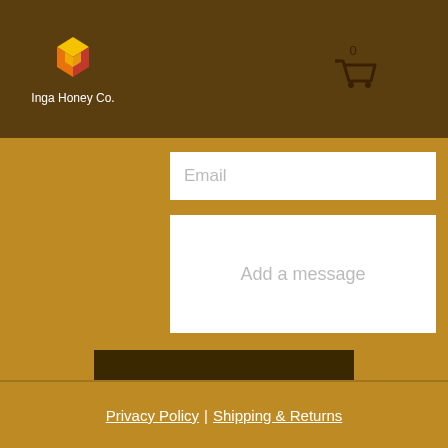[Figure (logo): Inga Honey Co. logo with honeycomb diamond shape in yellow, orange, red colors, and shopping cart icon with 0, hamburger menu icon]
Email
Add a message
Submit
Privacy Policy | Shipping & Returns